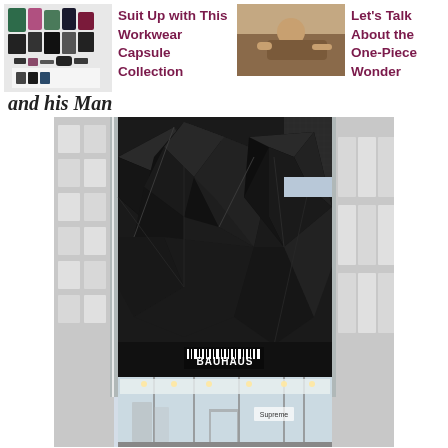[Figure (photo): Thumbnail of workwear capsule collection clothing items (tops, pants, accessories) laid out flat]
Suit Up with This Workwear Capsule Collection
[Figure (photo): Thumbnail of a person in a one-piece outfit, lifestyle photo]
Let's Talk About the One-Piece Wonder
and his Man
[Figure (photo): Exterior photo of BAUHAUS store with dramatic black geometric faceted diamond pattern facade above glass storefront entrance, flanked by marble-tiled wall panels]